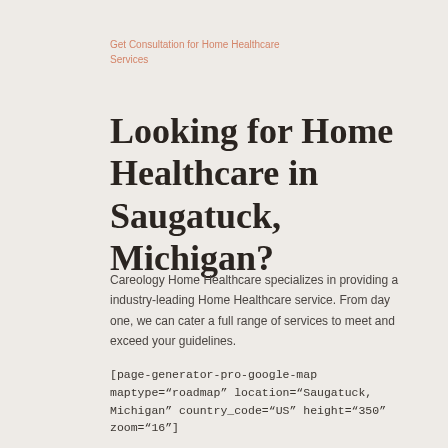Get Consultation for Home Healthcare Services
Looking for Home Healthcare in Saugatuck, Michigan?
Careology Home Healthcare specializes in providing a industry-leading Home Healthcare service. From day one, we can cater a full range of services to meet and exceed your guidelines.
[page-generator-pro-google-map maptype="roadmap" location="Saugatuck, Michigan" country_code="US" height="350" zoom="16"]